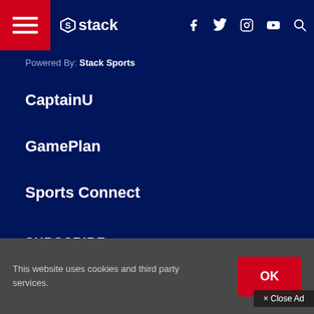stack — navigation bar with hamburger menu, logo, social icons (f, Twitter, Instagram, YouTube), search
Powered By: Stack Sports
CaptainU
GamePlan
Sports Connect
SUBSCRIBE
Email Address
× Close Ad
This website uses cookies and third party services.  OK